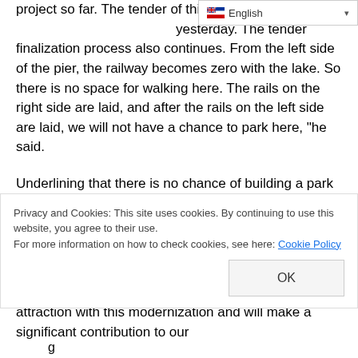project so far. The tender of this pla… yesterday. The tender finalization process also continues. From the left side of the pier, the railway becomes zero with the lake. So there is no space for walking here. The rails on the right side are laid, and after the rails on the left side are laid, we will not have a chance to park here, "he said.
Underlining that there is no chance of building a park at the current pier, but if there is no legal obstacle in the same area, Governor Bilmez continued his words as follows:
“We want the Iranian railway to become developed and usable. We hope that Van will be a center of attraction with this modernization and will make a significant contribution to our
Privacy and Cookies: This site uses cookies. By continuing to use this website, you agree to their use.
For more information on how to check cookies, see here: Cookie Policy
OK
…g…